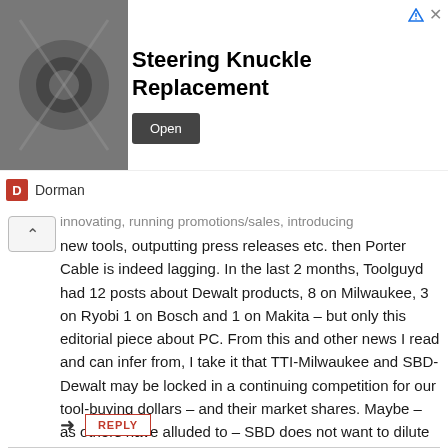[Figure (screenshot): Advertisement banner for Steering Knuckle Replacement by Dorman, with a photo of automotive parts, large bold title text, and an Open button]
innovating, running promotions/sales, introducing new tools, outputting press releases etc. then Porter Cable is indeed lagging. In the last 2 months, Toolguyd had 12 posts about Dewalt products, 8 on Milwaukee, 3 on Ryobi 1 on Bosch and 1 on Makita – but only this editorial piece about PC. From this and other news I read and can infer from, I take it that TTI-Milwaukee and SBD-Dewalt may be locked in a continuing competition for our tool-buying dollars – and their market shares. Maybe – as others have alluded to – SBD does not want to dilute their efforts with Dewalt – or cannibalize sales – by promoting PC just right now.